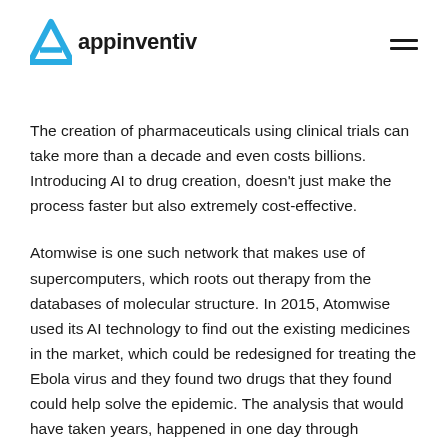appinventiv
The creation of pharmaceuticals using clinical trials can take more than a decade and even costs billions. Introducing AI to drug creation, doesn't just make the process faster but also extremely cost-effective.
Atomwise is one such network that makes use of supercomputers, which roots out therapy from the databases of molecular structure. In 2015, Atomwise used its AI technology to find out the existing medicines in the market, which could be redesigned for treating the Ebola virus and they found two drugs that they found could help solve the epidemic. The analysis that would have taken years, happened in one day through Atomwise AI technology.